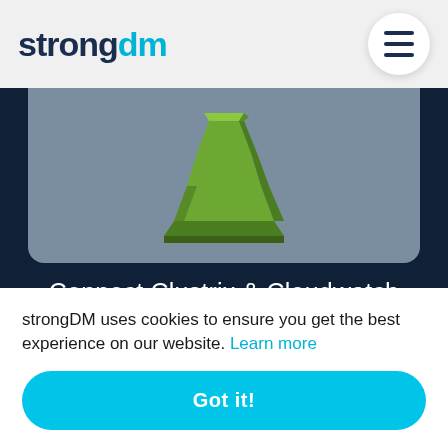strongdm
[Figure (illustration): Green 3D stepped pillar/tower icon representing AWS CloudWatch service, shown on a grey-blue card background]
Connect Clustrix & Cloudwatch
[Figure (illustration): Purple square icon with white dog/pig cartoon illustration, shown on a grey-blue card background]
strongDM uses cookies to ensure you get the best experience on our website. Learn more
Got it!